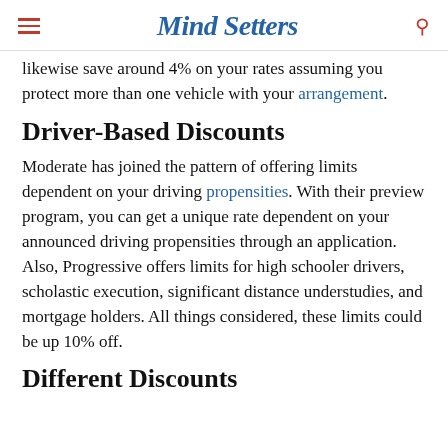Mind Setters
likewise save around 4% on your rates assuming you protect more than one vehicle with your arrangement.
Driver-Based Discounts
Moderate has joined the pattern of offering limits dependent on your driving propensities. With their preview program, you can get a unique rate dependent on your announced driving propensities through an application. Also, Progressive offers limits for high schooler drivers, scholastic execution, significant distance understudies, and mortgage holders. All things considered, these limits could be up 10% off.
Different Discounts